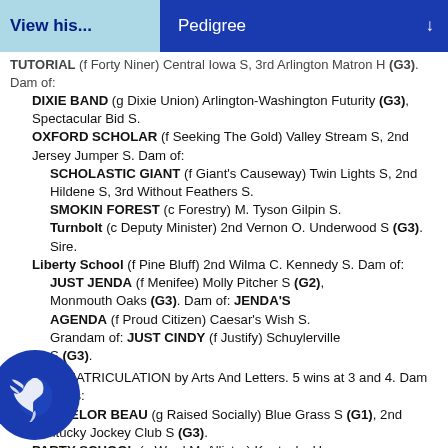View his... | Pedigree
TUTORIAL (f Forty Niner) Central Iowa S, 3rd Arlington Matron H (G3). Dam of:
DIXIE BAND (g Dixie Union) Arlington-Washington Futurity (G3), Spectacular Bid S.
OXFORD SCHOLAR (f Seeking The Gold) Valley Stream S, 2nd Jersey Jumper S. Dam of:
SCHOLASTIC GIANT (f Giant's Causeway) Twin Lights S, 2nd Hildene S, 3rd Without Feathers S.
SMOKIN FOREST (c Forestry) M. Tyson Gilpin S.
Turnbolt (c Deputy Minister) 2nd Vernon O. Underwood S (G3). Sire.
Liberty School (f Pine Bluff) 2nd Wilma C. Kennedy S. Dam of:
JUST JENDA (f Menifee) Molly Pitcher S (G2), Monmouth Oaks (G3). Dam of: JENDA'S AGENDA (f Proud Citizen) Caesar's Wish S. Grandam of: JUST CINDY (f Justify) Schuylerville S (G3).
4th dam: MATRICULATION by Arts And Letters. 5 wins at 3 and 4. Dam of 9 winners:
BACHELOR BEAU (g Raised Socially) Blue Grass S (G1), 2nd Kentucky Jockey Club S (G3).
PARTY SCHOOL (g Ward McAllister) Kentucky H.
DEGREE (f Vanlandingham) 3 wins at 3. Dam of:
Second Degree (f Time For A Change) 2nd Suncoast S.
Grandam of: ALL SQUARED AWAY (g Bellamy Road)